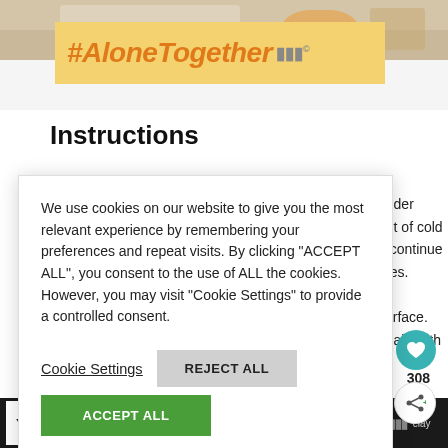[Figure (photo): Top portion of a photo showing a laptop and food/drink items on a table]
[Figure (infographic): Yellow/orange banner with bold orange italic text '#AloneTogether' and a Meredith logo icon]
Instructions
under
pot of cold
d continue
utes.

surface.
again with

it with the

w heat for 45
We use cookies on our website to give you the most relevant experience by remembering your preferences and repeat visits. By clicking "ACCEPT ALL", you consent to the use of ALL the cookies. However, you may visit "Cookie Settings" to provide a controlled consent.
Cookie Settings
REJECT ALL
ACCEPT ALL
308
[Figure (infographic): Bottom advertisement bar: 'You can help hungry kids.' No Kid Hungry logo and LEARN HOW button on dark background]
You can help hungry kids.
LEARN HOW